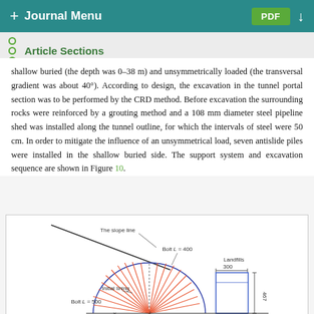+ Journal Menu | PDF
Article Sections
shallow buried (the depth was 0–38 m) and unsymmetrically loaded (the transversal gradient was about 40°). According to design, the excavation in the tunnel portal section was to be performed by the CRD method. Before excavation the surrounding rocks were reinforced by a grouting method and a 108 mm diameter steel pipeline shed was installed along the tunnel outline, for which the intervals of steel were 50 cm. In order to mitigate the influence of an unsymmetrical load, seven antislide piles were installed in the shallow buried side. The support system and excavation sequence are shown in Figure 10.
[Figure (engineering-diagram): Engineering cross-section diagram of tunnel portal with labels: The slope line, Bolt L = 400, Landfills 300, Initial lining, Bolt L = 500, dimension 467. Shows tunnel arch with radial bolt pattern in red/orange, blue rectangular structure on right side, and slope line at top left.]